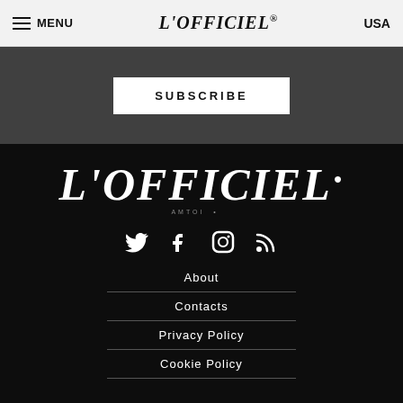MENU | L'OFFICIEL® | USA
SUBSCRIBE
[Figure (logo): L'OFFICIEL logo in white on black background, large italic serif text with globe icon and AMTOI subtitle]
[Figure (infographic): Social media icons: Twitter bird, Facebook f, Instagram camera, RSS feed]
About
Contacts
Privacy Policy
Cookie Policy